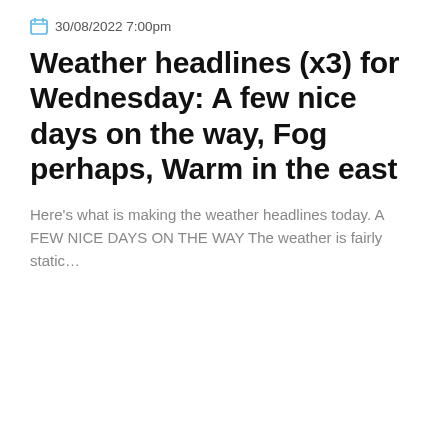30/08/2022 7:00pm
Weather headlines (x3) for Wednesday: A few nice days on the way, Fog perhaps, Warm in the east
Here's what is making the weather headlines today. A FEW NICE DAYS ON THE WAY The weather is fairly static...